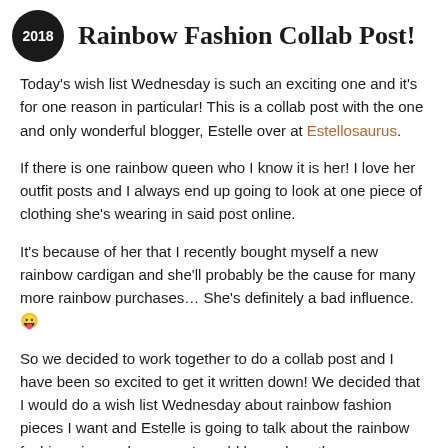[Figure (logo): Dark circular badge with '2018' text in white]
Rainbow Fashion Collab Post!
Today's wish list Wednesday is such an exciting one and it's for one reason in particular! This is a collab post with the one and only wonderful blogger, Estelle over at Estellosaurus.
If there is one rainbow queen who I know it is her! I love her outfit posts and I always end up going to look at one piece of clothing she's wearing in said post online.
It's because of her that I recently bought myself a new rainbow cardigan and she'll probably be the cause for many more rainbow purchases… She's definitely a bad influence. 😛
So we decided to work together to do a collab post and I have been so excited to get it written down! We decided that I would do a wish list Wednesday about rainbow fashion pieces I want and Estelle is going to talk about the rainbow fashion pieces she owns. I would have done the same as Estelle, but sadly I only own two items, which are both my